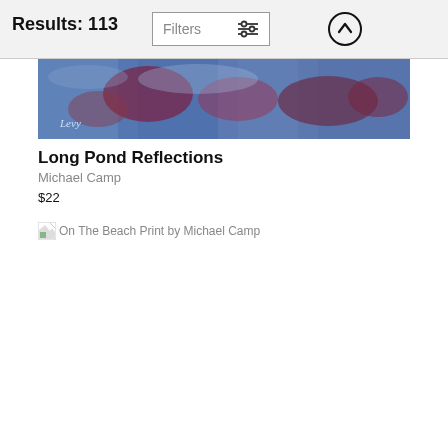Results: 113
[Figure (screenshot): Filters button with sliders icon and scroll-up arrow button in header]
[Figure (photo): Painting titled Long Pond Reflections by Michael Camp — a blue-toned abstract painting with dark reds and purples, signed]
Long Pond Reflections
Michael Camp
$22
[Figure (photo): Broken image placeholder for On The Beach Print by Michael Camp]